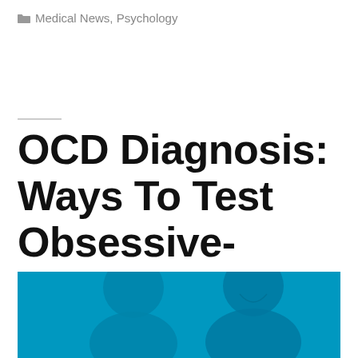Medical News, Psychology
OCD Diagnosis: Ways To Test Obsessive-Compulsive Disorder
[Figure (photo): Two people in a consultation or discussion setting, rendered with a blue tint overlay. One person with dark hair is seen from behind, and another bearded man faces forward, both appear to be engaged in conversation.]